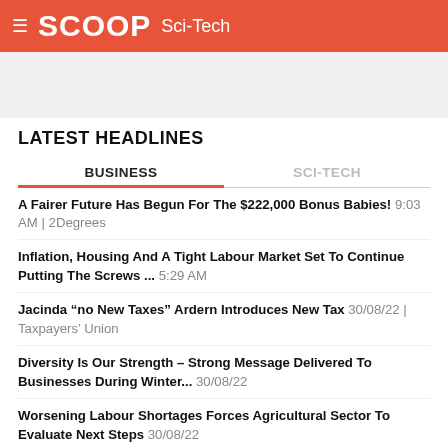SCOOP Sci-Tech
LATEST HEADLINES
BUSINESS | SCI-TECH
A Fairer Future Has Begun For The $222,000 Bonus Babies! 9:03 AM | 2Degrees
Inflation, Housing And A Tight Labour Market Set To Continue Putting The Screws ... 5:29 AM
Jacinda “no New Taxes” Ardern Introduces New Tax 30/08/22 | Taxpayers’ Union
Diversity Is Our Strength – Strong Message Delivered To Businesses During Winter... 30/08/22
Worsening Labour Shortages Forces Agricultural Sector To Evaluate Next Steps 30/08/22
FSC Media Release On Taxation Bill 30/08/22 | Financial Services Council
South Westland Rivers Are Pristine - Told You So Says Feds 30/08/22 | Federated Farmers